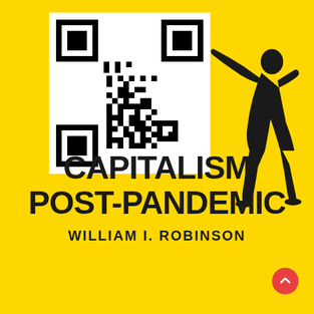[Figure (other): QR code with dollar sign pattern overlaid, on white background, with silhouette of person swinging a bat to the right]
CAPITALISM POST-PANDEMIC
WILLIAM I. ROBINSON